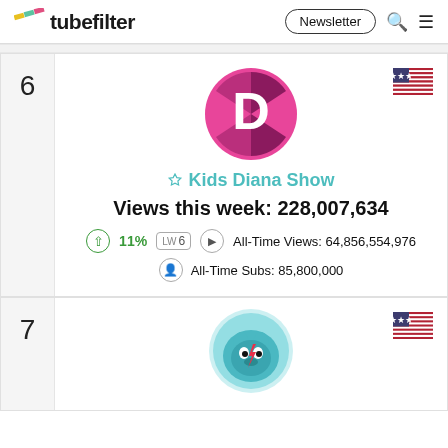tubefilter | Newsletter
6
[Figure (logo): Kids Diana Show circular logo with pink and magenta colors and letter D]
[Figure (illustration): US flag emoji]
Kids Diana Show
Views this week: 228,007,634
11% LW 6 All-Time Views: 64,856,554,976
All-Time Subs: 85,800,000
7
[Figure (illustration): US flag emoji for rank 7]
[Figure (logo): Rank 7 channel logo - teal/blue animal face with lightning bolt]